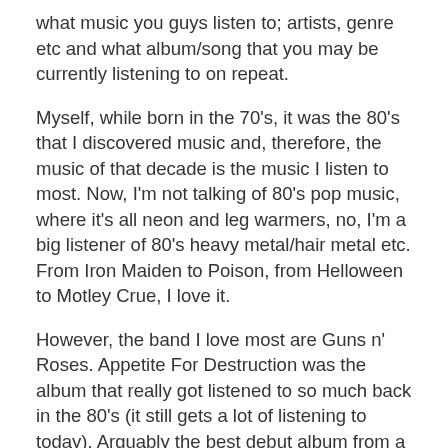what music you guys listen to; artists, genre etc and what album/song that you may be currently listening to on repeat.
Myself, while born in the 70's, it was the 80's that I discovered music and, therefore, the music of that decade is the music I listen to most. Now, I'm not talking of 80's pop music, where it's all neon and leg warmers, no, I'm a big listener of 80's heavy metal/hair metal etc. From Iron Maiden to Poison, from Helloween to Motley Crue, I love it.
However, the band I love most are Guns n' Roses. Appetite For Destruction was the album that really got listened to so much back in the 80's (it still gets a lot of listening to today). Arguably the best debut album from a band, I was a fan from the beginning. It's So Easy was the track that had me hooked after I heard a dodgy, little bootleg of it before the release of AFD. So that's